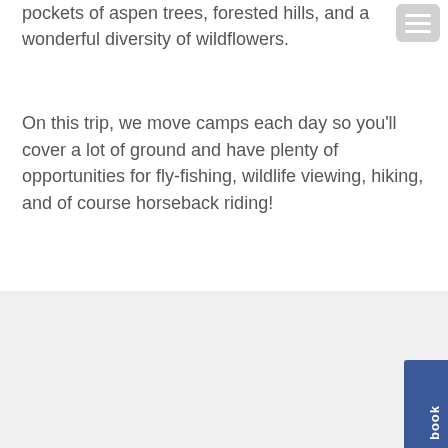pockets of aspen trees, forested hills, and a wonderful diversity of wildflowers.
On this trip, we move camps each day so you'll cover a lot of ground and have plenty of opportunities for fly-fishing, wildlife viewing, hiking, and of course horseback riding!
[Figure (photo): A large light gray placeholder image area representing a photo, shown in the bottom section of the page against a light gray background.]